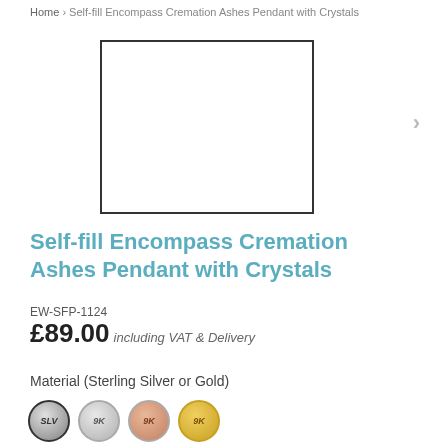Home › Self-fill Encompass Cremation Ashes Pendant with Crystals
[Figure (photo): Product image placeholder - empty white rectangle with dark border]
Self-fill Encompass Cremation Ashes Pendant with Crystals
EW-SFP-1124
£89.00 including VAT & Delivery
Material (Sterling Silver or Gold)
[Figure (illustration): Four circular material swatches: SLV (sterling silver, dark border), 9K (white gold, grey), 9K (rose gold, peach), 9K (yellow gold, gold)]